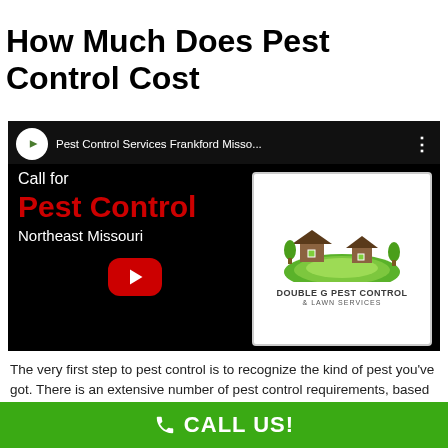How Much Does Pest Control Cost
[Figure (screenshot): YouTube video thumbnail for 'Pest Control Services Frankford Misso...' by Double G Pest Control & Lawn Services. Dark background with red text 'Pest Control', white text 'Call for', 'Northeast Missouri', and 'Call (217) 440-2847'. YouTube play button in center. Company logo on right.]
The very first step to pest control is to recognize the kind of pest you've got. There is an extensive number of pest control requirements, based on whether you will need a treatment one time or on a continuous basis, which technique is necessary, and what
CALL US!